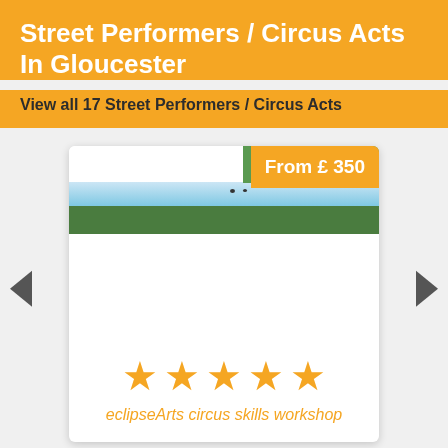Street Performers / Circus Acts In Gloucester
View all 17 Street Performers / Circus Acts
[Figure (screenshot): A listing card showing 'From £ 350' price badge in orange, a partial outdoor photo with blue sky and green trees, five gold stars rating, and listing name 'eclipseArts circus skills workshop'. Navigation arrows on either side.]